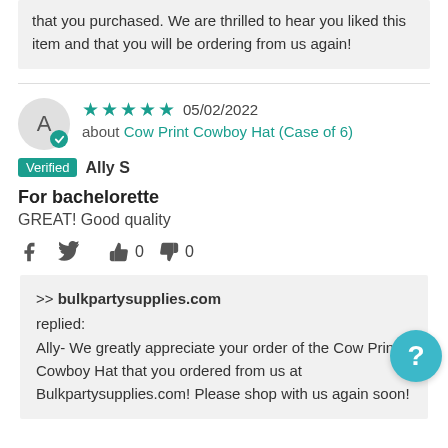that you purchased. We are thrilled to hear you liked this item and that you will be ordering from us again!
★★★★★ 05/02/2022 about Cow Print Cowboy Hat (Case of 6)
Verified  Ally S
For bachelorette
GREAT! Good quality
>> bulkpartysupplies.com replied: Ally- We greatly appreciate your order of the Cow Print Cowboy Hat that you ordered from us at Bulkpartysupplies.com! Please shop with us again soon!